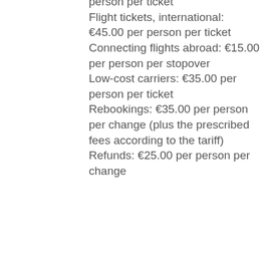person per ticket Flight tickets, international: €45.00 per person per ticket Connecting flights abroad: €15.00 per person per stopover Low-cost carriers: €35.00 per person per ticket Rebookings: €35.00 per person per change (plus the prescribed fees according to the tariff) Refunds: €25.00 per person per change